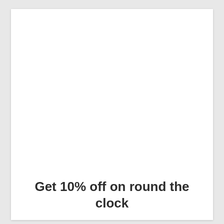Get 10% off on round the clock